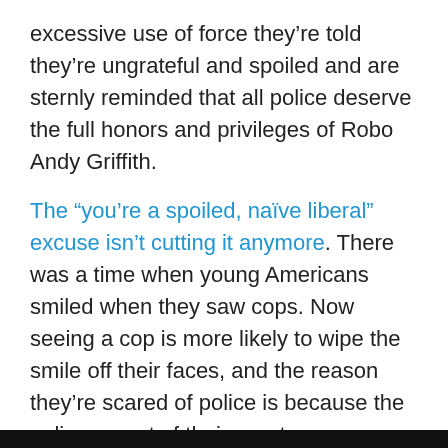excessive use of force they're told they're ungrateful and spoiled and are sternly reminded that all police deserve the full honors and privileges of Robo Andy Griffith.
The “you’re a spoiled, naïve liberal” excuse isn’t cutting it anymore. There was a time when young Americans smiled when they saw cops. Now seeing a cop is more likely to wipe the smile off their faces, and the reason they’re scared of police is because the police go out of their way to scare them. Police cars are designed to appear menacing, not welcoming. I’m sorry, but you don’t get to act surprised when you pull up in a car that looks like a prop from a Hollywood movie about a futuristic dystopian police state and people say they feel menaced by you.